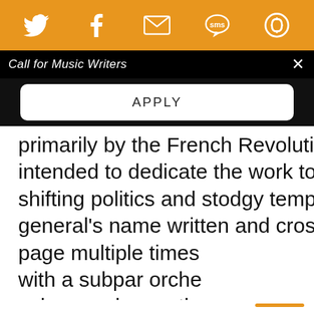[Figure (screenshot): Orange social sharing bar with Twitter, Facebook, email, SMS, and another icon]
Call for Music Writers
APPLY
primarily by the French Revolution, the composer intended to dedicate the work to Napoleon, yet shifting politics and stodgy tempers saw the general's name written and crossed off the title page multiple times with a subpar orche vulgar work, one th fell victim to odd m championed Beetho